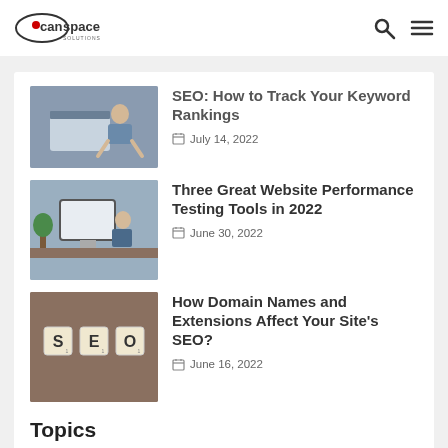CanSpace Solutions [logo] [search icon] [menu icon]
[Figure (photo): Woman working at a laptop computer, office setting]
SEO: How to Track Your Keyword Rankings
July 14, 2022
[Figure (photo): Man working at a desktop computer with monitor, office with plant]
Three Great Website Performance Testing Tools in 2022
June 30, 2022
[Figure (photo): Scrabble tiles spelling SEO on a wooden surface]
How Domain Names and Extensions Affect Your Site's SEO?
June 16, 2022
Topics